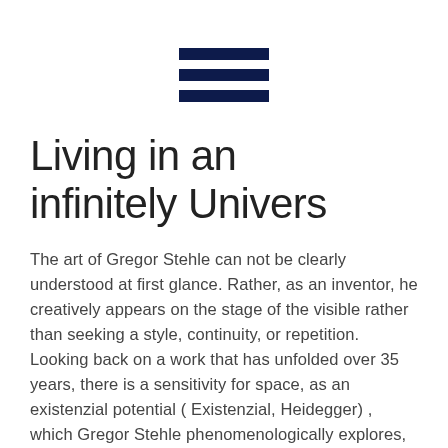[Figure (illustration): Hamburger menu icon — three horizontal dark navy bars stacked vertically, centered near the top of the page.]
Living in an infinitely Univers
The art of Gregor Stehle can not be clearly understood at first glance. Rather, as an inventor, he creatively appears on the stage of the visible rather than seeking a style, continuity, or repetition.
Looking back on a work that has unfolded over 35 years, there is a sensitivity for space, as an existenzial potential ( Existenzial, Heidegger) , which Gregor Stehle phenomenologically explores, experiences and constantly